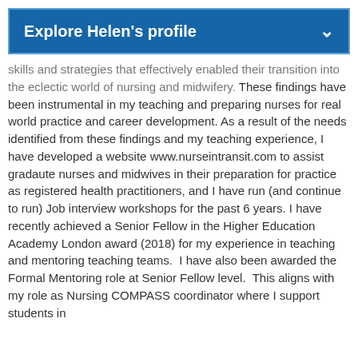Explore Helen's profile
skills and strategies that effectively enabled their transition into the eclectic world of nursing and midwifery. These findings have been instrumental in my teaching and preparing nurses for real world practice and career development. As a result of the needs identified from these findings and my teaching experience, I have developed a website www.nurseintransit.com to assist gradaute nurses and midwives in their preparation for practice as registered health practitioners, and I have run (and continue to run) Job interview workshops for the past 6 years. I have recently achieved a Senior Fellow in the Higher Education Academy London award (2018) for my experience in teaching and mentoring teaching teams.  I have also been awarded the Formal Mentoring role at Senior Fellow level.  This aligns with my role as Nursing COMPASS coordinator where I support students in